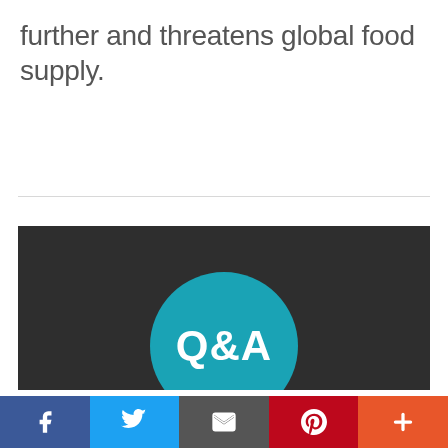further and threatens global food supply.
[Figure (illustration): Dark background with a teal circle containing 'Q&A' text in white, positioned centrally]
Social share bar with Facebook, Twitter, Email, Pinterest, and More buttons